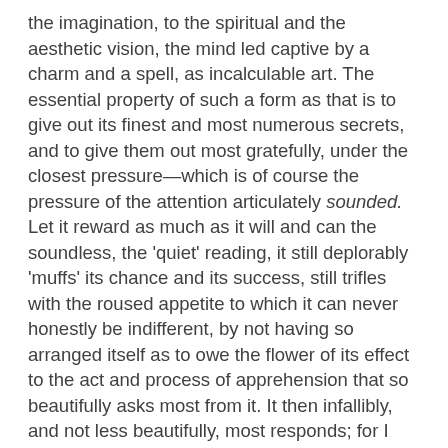the imagination, to the spiritual and the aesthetic vision, the mind led captive by a charm and a spell, as incalculable art. The essential property of such a form as that is to give out its finest and most numerous secrets, and to give them out most gratefully, under the closest pressure—which is of course the pressure of the attention articulately sounded. Let it reward as much as it will and can the soundless, the 'quiet' reading, it still deplorably 'muffs' its chance and its success, still trifles with the roused appetite to which it can never honestly be indifferent, by not having so arranged itself as to owe the flower of its effect to the act and process of apprehension that so beautifully asks most from it. It then infallibly, and not less beautifully, most responds; for I have nowhere found vindicated the queer thesis that the right values of interesting prose depend all on withheld tests—that is on its being, for very pity and shame, but skimmed and scanted, shuffled and mumbled. Gustave Flaubert has somewhere in this connexion an excellent word—to the effect